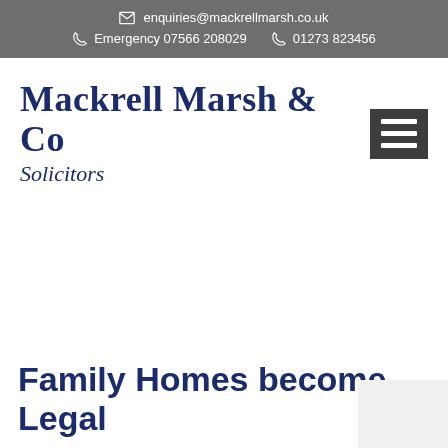enquiries@mackrellmarsh.co.uk  Emergency 07566 208029  01273 823456
Mackrell Marsh & Co Solicitors
Family Homes become Legal